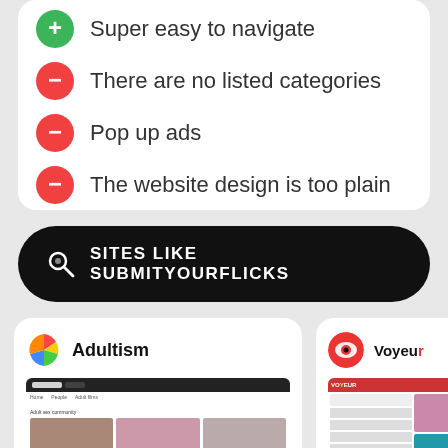Super easy to navigate
There are no listed categories
Pop up ads
The website design is too plain
SITES LIKE SUBMITYOURFLICKS
[Figure (screenshot): Adultism website card with logo and screenshot]
[Figure (screenshot): Voyeur website card with logo and partial screenshot]